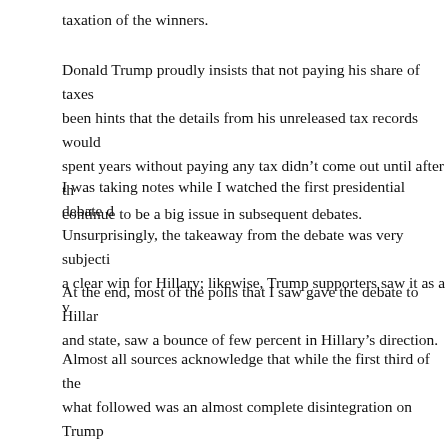taxation of the winners.
Donald Trump proudly insists that not paying his share of taxes been hints that the details from his unreleased tax records would spent years without paying any tax didn't come out until after the continue to be a big issue in subsequent debates.
I was taking notes while I watched the first presidential debate on Unsurprisingly, the takeaway from the debate was very subjective a clear win for Hillary; likewise, Trump supporters saw it as a w
At the end, most of the polls that I saw gave the debate to Hillary and state, saw a bounce of few percent in Hillary's direction.
Almost all sources acknowledge that while the first third of the what followed was an almost complete disintegration on Trump was almost impossible to follow his arguments. This also speaks Trump's short attention span might be a serious issue for him. I